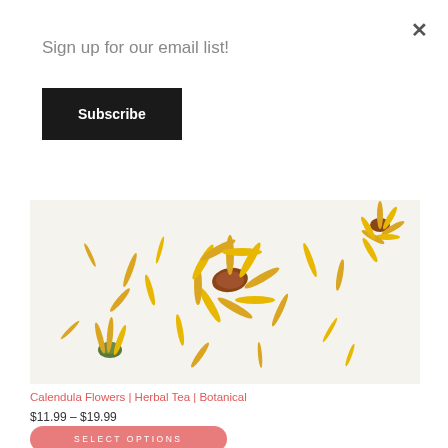Sign up for our email list!
Subscribe
[Figure (photo): Dried calendula flowers scattered on a white background, showing yellow/orange petals and green stems]
Calendula Flowers | Herbal Tea | Botanical
$11.99 – $19.99
SELECT OPTIONS